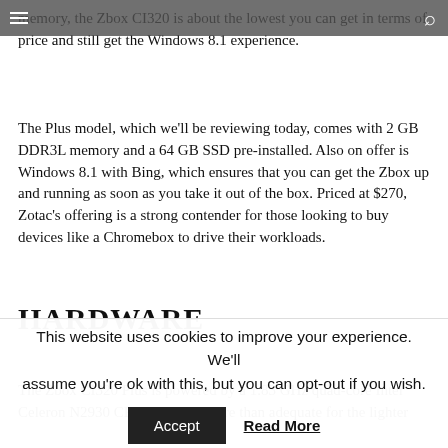memory, the Zbox CI320 is about the lowest you can get in terms of price and still get the Windows 8.1 experience.
The Plus model, which we'll be reviewing today, comes with 2 GB DDR3L memory and a 64 GB SSD pre-installed. Also on offer is Windows 8.1 with Bing, which ensures that you can get the Zbox up and running as soon as you take it out of the box. Priced at $270, Zotac's offering is a strong contender for those looking to buy devices like a Chromebox to drive their workloads.
HARDWARE
The Zbox CI320 Plus is powered by a 1.83 GHz quad-core Intel Celeron N2930 CPU, which is more than adequate for the lighter
This website uses cookies to improve your experience. We'll assume you're ok with this, but you can opt-out if you wish.